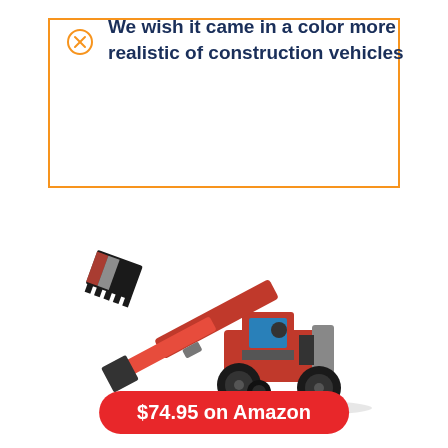We wish it came in a color more realistic of construction vehicles
[Figure (photo): LEGO Technic red and black telehandler / telescopic loader construction vehicle toy with a front bucket attachment, positioned at an angle showing four large wheels]
$74.95 on Amazon